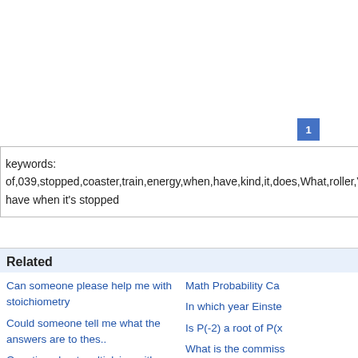1
keywords: of,039,stopped,coaster,train,energy,when,have,kind,it,does,What,roller,W
have when it's stopped
Related
Can someone please help me with stoichiometry
Could someone tell me what the answers are to thes..
Question about multiplying with trig
A circle of area 49(pi) has a circumference of wha..
Can you take citrizine and ibuprofen together
Explain the process of translation
Explain in your own words the various methods used..
Volume integral, how do I find the limits for my i..
Is there a water & methane oceans on Titan;is ..
Number of Photons Emitted Per Second
Math Probability Ca
In which year Einste
Is P(-2) a root of P(x
What is the commiss
Which of these equa
A map showing the l
Can someone help m
What is sharper, kna
Probability help pls!
A Scientist wants to r